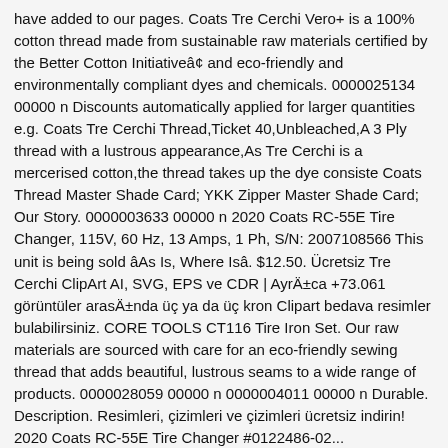have added to our pages. Coats Tre Cerchi Vero+ is a 100% cotton thread made from sustainable raw materials certified by the Better Cotton Initiativeâ¢ and eco-friendly and environmentally compliant dyes and chemicals. 0000025134 00000 n Discounts automatically applied for larger quantities e.g. Coats Tre Cerchi Thread,Ticket 40,Unbleached,A 3 Ply thread with a lustrous appearance,As Tre Cerchi is a mercerised cotton,the thread takes up the dye consiste Coats Thread Master Shade Card; YKK Zipper Master Shade Card; Our Story. 0000003633 00000 n 2020 Coats RC-55E Tire Changer, 115V, 60 Hz, 13 Amps, 1 Ph, S/N: 2007108566 This unit is being sold âAs Is, Where Isâ. $12.50. Ücretsiz Tre Cerchi ClipArt AI, SVG, EPS ve CDR | AyrÄ±ca +73.061 görüntüler arasÄ±nda üç ya da üç kron Clipart bedava resimler bulabilirsiniz. CORE TOOLS CT116 Tire Iron Set. Our raw materials are sourced with care for an eco-friendly sewing thread that adds beautiful, lustrous seams to a wide range of products. 0000028059 00000 n 0000004011 00000 n Durable. Description. Resimleri, çizimleri ve çizimleri ücretsiz indirin! 2020 Coats RC-55E Tire Changer #0122486-02...